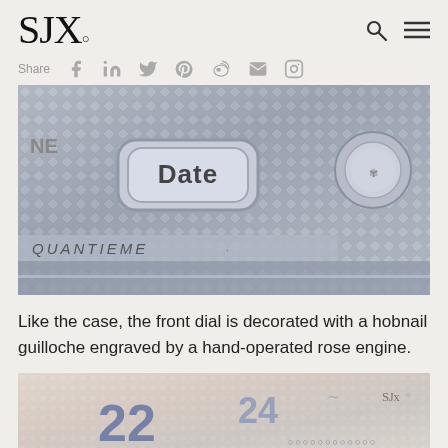SJx.
[Figure (photo): Close-up macro photograph of a watch movement showing a 'Date' pusher button and 'QUANTIEME' engraving on a hobnail guilloche decorated silver surface, with a gear crown visible on the right]
Like the case, the front dial is decorated with a hobnail guilloche engraved by a hand-operated rose engine.
[Figure (photo): Close-up photograph of a watch dial showing numbers 22 and 24 with hobnail guilloche decoration and an SJx watermark]